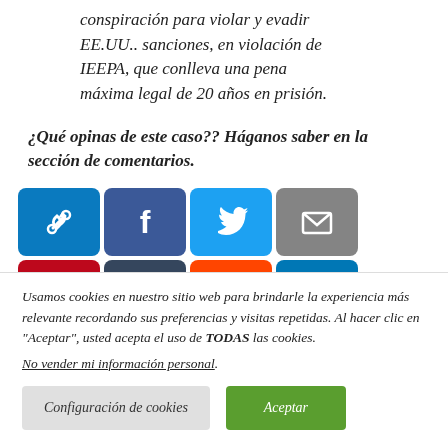conspiración para violar y evadir EE.UU.. sanciones, en violación de IEEPA, que conlleva una pena máxima legal de 20 años en prisión.
¿Qué opinas de este caso?? Háganos saber en la sección de comentarios.
[Figure (infographic): A row of social media sharing buttons: link/copy, Facebook, Twitter, email, Pinterest, Tumblr, Reddit, LinkedIn, Flipboard. Second partial row: Pocket, LINE, Meneame, VK, Telegram, Odnoklassniki, Typo3, and a plus/more button.]
Usamos cookies en nuestro sitio web para brindarle la experiencia más relevante recordando sus preferencias y visitas repetidas. Al hacer clic en "Aceptar", usted acepta el uso de TODAS las cookies.
No vender mi información personal.